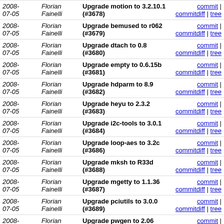| Date | Author | Message | Links |
| --- | --- | --- | --- |
| 2008-07-05 | Florian Fainelli | Upgrade motion to 3.2.10.1 (#3678) | commit | commitdiff | tree |
| 2008-07-05 | Florian Fainelli | Upgrade bemused to r062 (#3679) | commit | commitdiff | tree |
| 2008-07-05 | Florian Fainelli | Upgrade dtach to 0.8 (#3680) | commit | commitdiff | tree |
| 2008-07-05 | Florian Fainelli | Upgrade empty to 0.6.15b (#3681) | commit | commitdiff | tree |
| 2008-07-05 | Florian Fainelli | Upgrade hdparm to 8.9 (#3682) | commit | commitdiff | tree |
| 2008-07-05 | Florian Fainelli | Upgrade heyu to 2.3.2 (#3683) | commit | commitdiff | tree |
| 2008-07-05 | Florian Fainelli | Upgrade i2c-tools to 3.0.1 (#3684) | commit | commitdiff | tree |
| 2008-07-05 | Florian Fainelli | Upgrade loop-aes to 3.2c (#3686) | commit | commitdiff | tree |
| 2008-07-05 | Florian Fainelli | Upgrade mksh to R33d (#3688) | commit | commitdiff | tree |
| 2008-07-05 | Florian Fainelli | Upgrade mgetty to 1.1.36 (#3687) | commit | commitdiff | tree |
| 2008-07-05 | Florian Fainelli | Upgrade pciutils to 3.0.0 (#3689) | commit | commitdiff | tree |
| 2008-07-05 | Florian Fainelli | Upgrade pwgen to 2.06 (#3690) | commit | commitdiff | tree |
| 2008-07-05 | Florian Fainelli | Upgrade rdiff-backup to 1.0.5 (#3691) | commit | commitdiff | tree |
| 2008- | Florian | Upgrade sdparm to 1.03 (#3694) | commit | |